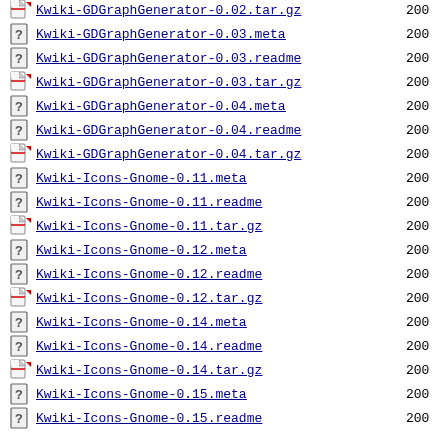Kwiki-GDGraphGenerator-0.02.tar.gz  200
Kwiki-GDGraphGenerator-0.03.meta  200
Kwiki-GDGraphGenerator-0.03.readme  200
Kwiki-GDGraphGenerator-0.03.tar.gz  200
Kwiki-GDGraphGenerator-0.04.meta  200
Kwiki-GDGraphGenerator-0.04.readme  200
Kwiki-GDGraphGenerator-0.04.tar.gz  200
Kwiki-Icons-Gnome-0.11.meta  200
Kwiki-Icons-Gnome-0.11.readme  200
Kwiki-Icons-Gnome-0.11.tar.gz  200
Kwiki-Icons-Gnome-0.12.meta  200
Kwiki-Icons-Gnome-0.12.readme  200
Kwiki-Icons-Gnome-0.12.tar.gz  200
Kwiki-Icons-Gnome-0.14.meta  200
Kwiki-Icons-Gnome-0.14.readme  200
Kwiki-Icons-Gnome-0.14.tar.gz  200
Kwiki-Icons-Gnome-0.15.meta  200
Kwiki-Icons-Gnome-0.15.readme  200